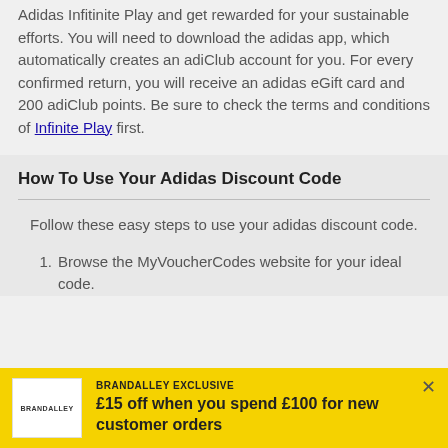Adidas Infitinite Play and get rewarded for your sustainable efforts. You will need to download the adidas app, which automatically creates an adiClub account for you. For every confirmed return, you will receive an adidas eGift card and 200 adiClub points. Be sure to check the terms and conditions of Infinite Play first.
How To Use Your Adidas Discount Code
Follow these easy steps to use your adidas discount code.
Browse the MyVoucherCodes website for your ideal code.
[Figure (other): BrandAlley exclusive promotional banner: logo on left, text 'BRANDALLEY EXCLUSIVE £15 off when you spend £100 for new customer orders', close button on right.]